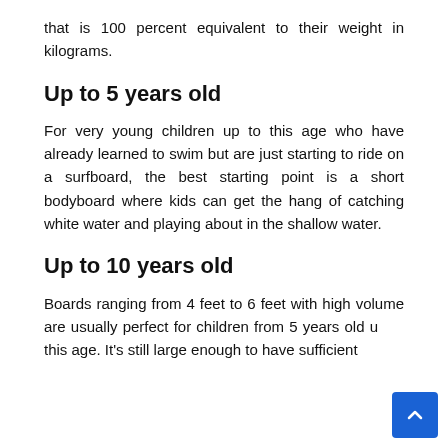that is 100 percent equivalent to their weight in kilograms.
Up to 5 years old
For very young children up to this age who have already learned to swim but are just starting to ride on a surfboard, the best starting point is a short bodyboard where kids can get the hang of catching white water and playing about in the shallow water.
Up to 10 years old
Boards ranging from 4 feet to 6 feet with high volume are usually perfect for children from 5 years old up to this age. It's still large enough to have sufficient